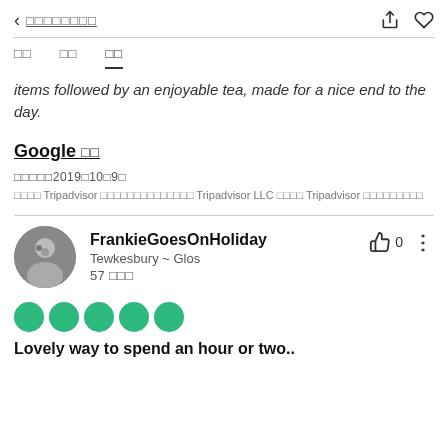< □□□□□□□□
□□  □□  □□
items followed by an enjoyable tea, made for a nice end to the day.
Google □□
□□□□□2019□10□9□
□□□□ Tripadvisor □□□□□□□□□□□□□□ Tripadvisor LLC □□□□ Tripadvisor □□□□□□□□□
FrankieGoesOnHoliday
Tewkesbury ~ Glos
57 □□□
●●●●●
Lovely way to spend an hour or two..